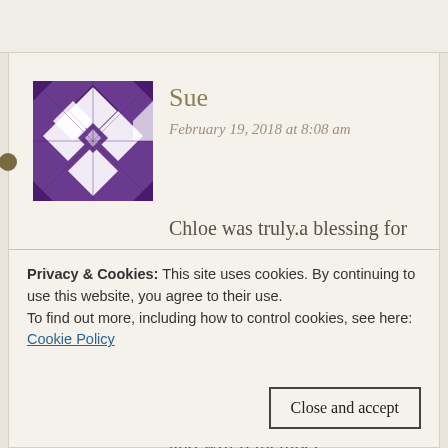[Figure (illustration): Purple geometric/mosaic avatar icon for user Sue]
Sue
February 19, 2018 at 8:08 am
Chloe was truly.a blessing for you folks as well as all of those of us who follow so closely your beautiful posts. Please know how much we care and are so happy you shared her with us. We, too, are saddened and will remember
Privacy & Cookies: This site uses cookies. By continuing to use this website, you agree to their use.
To find out more, including how to control cookies, see here:
Cookie Policy
Close and accept